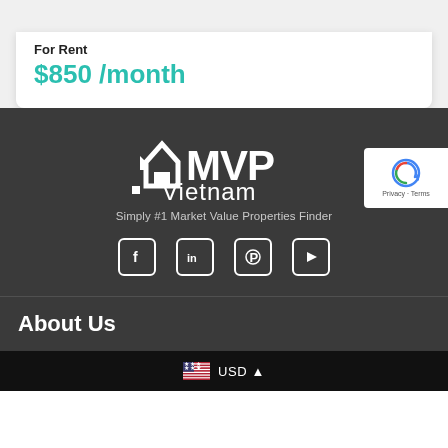For Rent
$850 /month
[Figure (logo): MVP Vietnam logo — white arrow/building icon followed by 'MVP Vietnam' in white text on dark background]
Simply #1 Market Value Properties Finder
[Figure (infographic): Social media icons: Facebook, LinkedIn, Pinterest, YouTube — white outlined square icons]
[Figure (other): Google reCAPTCHA badge with Privacy and Terms links]
About Us
USD